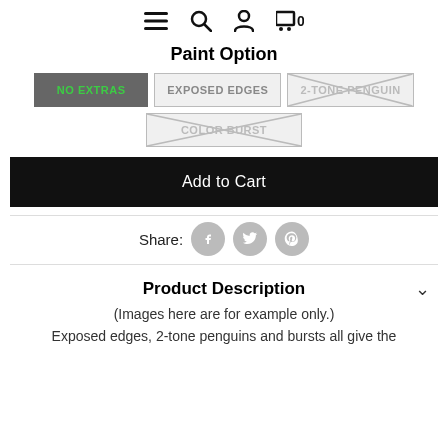≡ 🔍 👤 🛒 0
Paint Option
[Figure (infographic): Four paint option selector buttons: 'NO EXTRAS' (selected, dark background, green text), 'EXPOSED EDGES' (grey, normal), '2-TONE PENGUIN' (grey, crossed out/disabled), 'COLOR BURST' (grey, crossed out/disabled)]
[Figure (infographic): Black 'Add to Cart' button]
[Figure (infographic): Share row with Facebook, Twitter, and Pinterest social icons]
Product Description
(Images here are for example only.)
Exposed edges, 2-tone penguins and bursts all give the